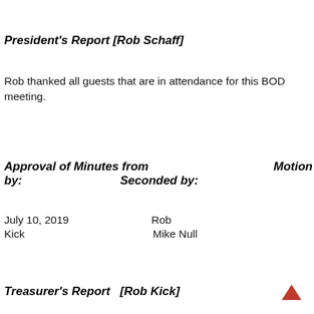President's Report [Rob Schaff]
Rob thanked all guests that are in attendance for this BOD meeting.
Approval of Minutes from   Motion by:   Seconded by:
July 10, 2019   Rob Kick   Mike Null
Treasurer's Report   [Rob Kick]